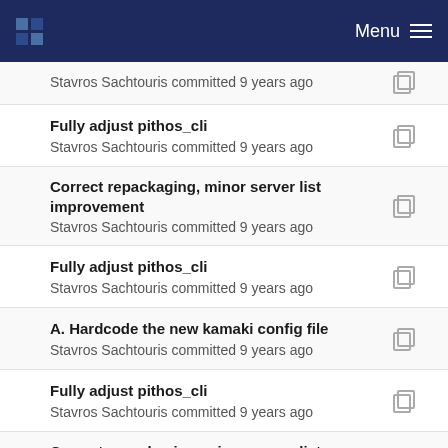Menu
Fully adjust pithos_cli
Stavros Sachtouris committed 9 years ago
Correct repackaging, minor server list improvement
Stavros Sachtouris committed 9 years ago
Fully adjust pithos_cli
Stavros Sachtouris committed 9 years ago
A. Hardcode the new kamaki config file
Stavros Sachtouris committed 9 years ago
Fully adjust pithos_cli
Stavros Sachtouris committed 9 years ago
Correct repackaging, minor server list improvement
Stavros Sachtouris committed 9 years ago
pep8 kamaki.cli.commands
Stavros Sachtouris committed 9 years ago
Complete UI/cli interface refactoring, minor bugs